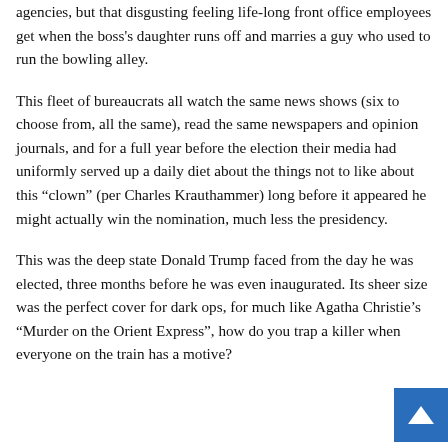agencies, but that disgusting feeling life-long front office employees get when the boss's daughter runs off and marries a guy who used to run the bowling alley.
This fleet of bureaucrats all watch the same news shows (six to choose from, all the same), read the same newspapers and opinion journals, and for a full year before the election their media had uniformly served up a daily diet about the things not to like about this “clown” (per Charles Krauthammer) long before it appeared he might actually win the nomination, much less the presidency.
This was the deep state Donald Trump faced from the day he was elected, three months before he was even inaugurated. Its sheer size was the perfect cover for dark ops, for much like Agatha Christie’s “Murder on the Orient Express”, how do you trap a killer when everyone on the train has a motive?